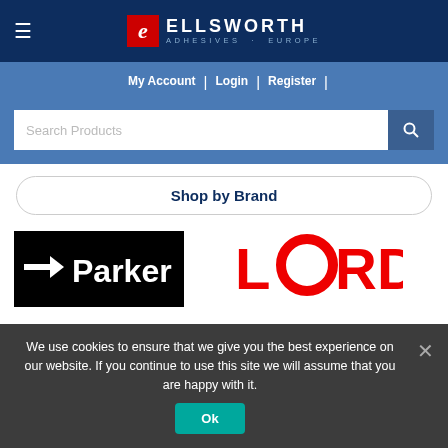Ellsworth Adhesives Europe
My Account | Login | Register |
Search Products
Shop by Brand
[Figure (logo): Parker logo - white Parker text on black background with arrow symbol]
[Figure (logo): LORD logo in bold red letters]
We use cookies to ensure that we give you the best experience on our website. If you continue to use this site we will assume that you are happy with it.
Ok